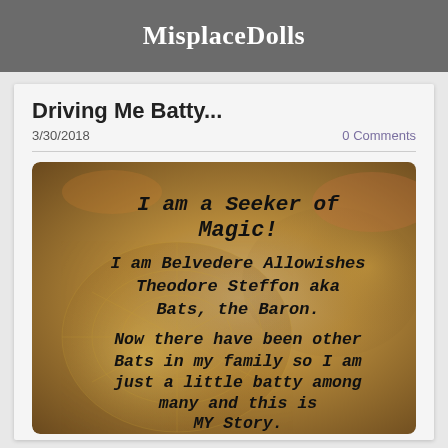MisplaceDolls
Driving Me Batty...
3/30/2018
0 Comments
[Figure (photo): A decorative image with an antique world map background in warm golden-brown tones. Overlaid handwritten-style text reads: 'I am a Seeker of Magic! I am Belvedere Allowishes Theodore Steffon aka Bats, the Baron. Now there have been other Bats in my family so I am just a little batty among many and this is MY Story.']